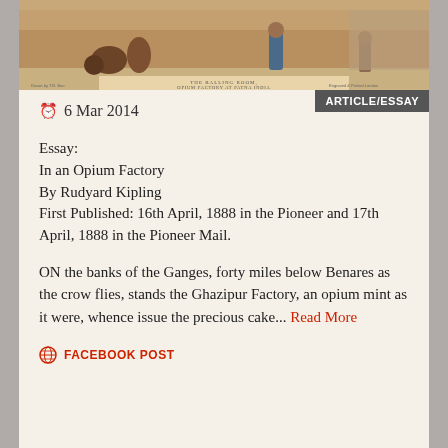[Figure (photo): Historical colored illustration of figures at an opium factory, with caption 'THE BALLING ROOM, OPIUM FACTORY AT PATNA INDIA']
ARTICLE/ESSAY
6 Mar 2014
Essay:
In an Opium Factory
By Rudyard Kipling
First Published: 16th April, 1888 in the Pioneer and 17th April, 1888 in the Pioneer Mail.
ON the banks of the Ganges, forty miles below Benares as the crow flies, stands the Ghazipur Factory, an opium mint as it were, whence issue the precious cake... Read More
FACEBOOK POST